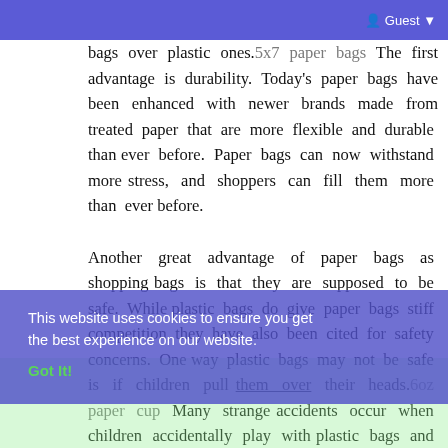some innovative attempts and competitions over paper cups Here are some advantages of paper bags over plastic ones.
bags over plastic ones.5x7 paper bags The first advantage is durability. Today's paper bags have been enhanced with newer brands made from treated paper that are more flexible and durable than ever before. Paper bags can now withstand more stress, and shoppers can fill them more than ever before.

Another great advantage of paper bags as shopping bags is that they are supposed to be safe. While plastic bags do give paper bags stiff competition, they have also been cited for safety concerns. One way plastic bags may not be safe is if children pull them over their heads.6oz paper cup Many strange accidents occur when children accidentally play with plastic bags and slip them over their heads, resulting in suffocation. While a paper bag cannot completely rule out the same situation, it is much more difficult.
This website uses cookies to ensure you get the best experience on our website.
Got It!